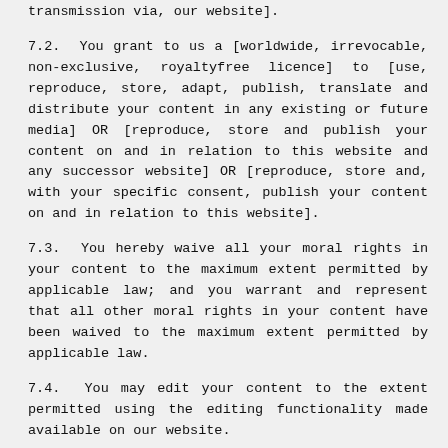transmission via, our website].
7.2. You grant to us a [worldwide, irrevocable, non-exclusive, royaltyfree licence] to [use, reproduce, store, adapt, publish, translate and distribute your content in any existing or future media] OR [reproduce, store and publish your content on and in relation to this website and any successor website] OR [reproduce, store and, with your specific consent, publish your content on and in relation to this website].
7.3. You hereby waive all your moral rights in your content to the maximum extent permitted by applicable law; and you warrant and represent that all other moral rights in your content have been waived to the maximum extent permitted by applicable law.
7.4. You may edit your content to the extent permitted using the editing functionality made available on our website.
7.5. Without prejudice to our other rights under these